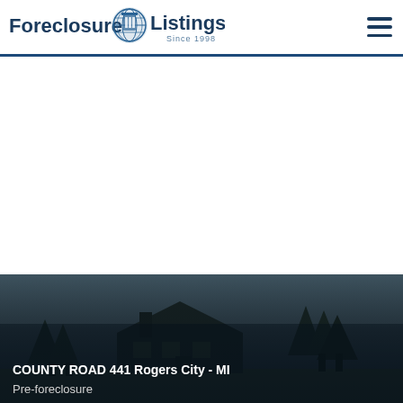ForeclosureListings.com Since 1998
[Figure (photo): Property photo showing a house with trees in a twilight/dark setting, Rogers City MI]
COUNTY ROAD 441 Rogers City - MI
Pre-foreclosure